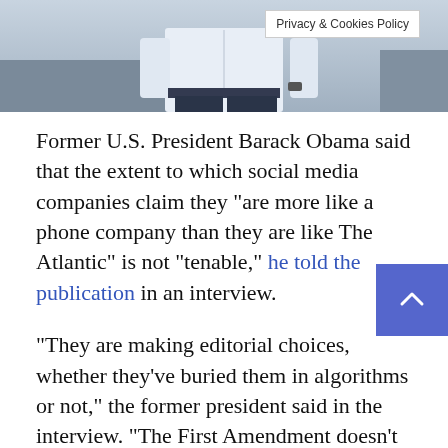[Figure (photo): Partial photo of a person in a white shirt and dark pants, cropped to show torso area. A 'Privacy & Cookies Policy' badge overlays the top-right of the image.]
Former U.S. President Barack Obama said that the extent to which social media companies claim they “are more like a phone company than they are like The Atlantic” is not “tenable,” he told the publication in an interview.
“They are making editorial choices, whether they’ve buried them in algorithms or not,” the former president said in the interview. “The First Amendment doesn’t require private companies to provide a platform for any view that is out there. At the end of the day, we’re going to have to find a combination of government regulations and